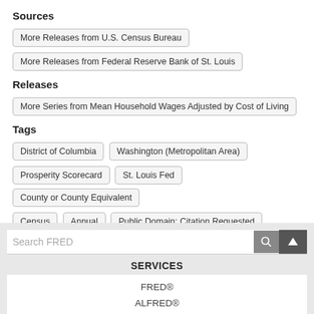Sources
More Releases from U.S. Census Bureau
More Releases from Federal Reserve Bank of St. Louis
Releases
More Series from Mean Household Wages Adjusted by Cost of Living
Tags
District of Columbia
Washington (Metropolitan Area)
Prosperity Scorecard
St. Louis Fed
County or County Equivalent
Census
Annual
Public Domain: Citation Requested
Not Seasonally Adjusted
United States of America
SERVICES
FRED®
ALFRED®